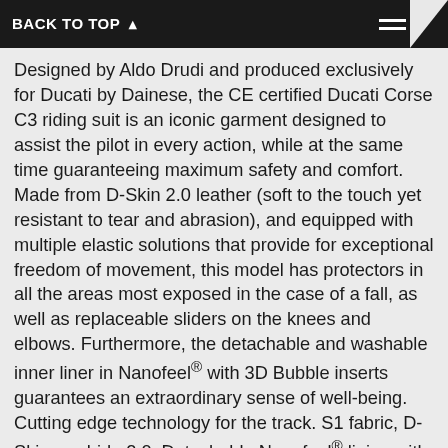BACK TO TOP
Designed by Aldo Drudi and produced exclusively for Ducati by Dainese, the CE certified Ducati Corse C3 riding suit is an iconic garment designed to assist the pilot in every action, while at the same time guaranteeing maximum safety and comfort. Made from D-Skin 2.0 leather (soft to the touch yet resistant to tear and abrasion), and equipped with multiple elastic solutions that provide for exceptional freedom of movement, this model has protectors in all the areas most exposed in the case of a fall, as well as replaceable sliders on the knees and elbows. Furthermore, the detachable and washable inner liner in Nanofeel® with 3D Bubble inserts guarantees an extraordinary sense of well-being. Cutting edge technology for the track. S1 fabric, D-Skin cowhide 2.0, Detachable Nanofeel® lining with 3D-Bubble inserts, Leather stretch inserts, Biaxial elastic, Micro-stretch inserts, Elastic fabric collar. 1 inside pocket, Made to measure, Soft inserts in PU, Localised perforation,  Leather suit bag included,